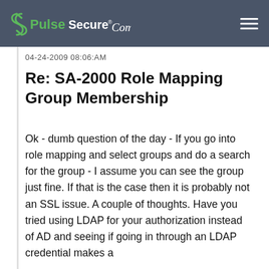[Figure (logo): Pulse Secure Community logo with icon and text on dark gray header bar]
04-24-2009 08:06:AM
Re: SA-2000 Role Mapping Group Membership
Ok - dumb question of the day - If you go into role mapping and select groups and do a search for the group - I assume you can see the group just fine. If that is the case then it is probably not an SSL issue. A couple of thoughts. Have you tried using LDAP for your authorization instead of AD and seeing if going in through an LDAP credential makes a